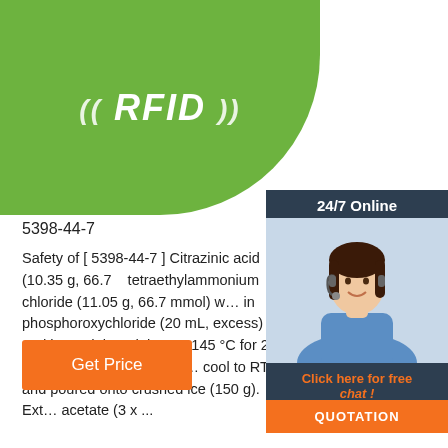[Figure (photo): Green RFID wristband/tag with white RFID label text and wave symbols on top portion of page]
[Figure (photo): 24/7 Online customer service panel with woman wearing headset, Click here for free chat label, and QUOTATION button]
5398-44-7
Safety of [ 5398-44-7 ] Citrazinic acid (10.35 g, 66.7 mmol) and tetraethylammonium chloride (11.05 g, 66.7 mmol) were dissolved in phosphoroxychloride (20 mL, excess) and heated at 120 °C for 1 h and then at 145 °C for 2 h. The reaction mixture was allowed to cool to RT and poured onto crushed ice (150 g). Ext... acetate (3 x ...
[Figure (other): Get Price orange button]
[Figure (logo): TOP icon with red dots arranged in triangle and TOP text]